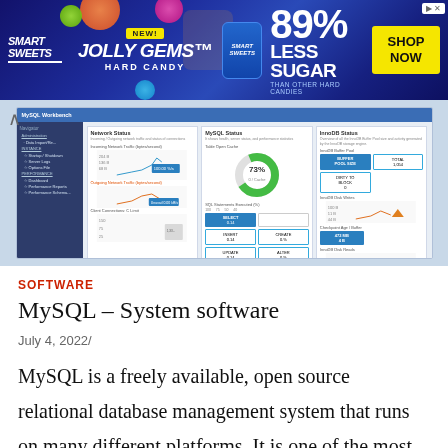[Figure (screenshot): Advertisement banner for Smart Sweets Jolly Gems Hard Candy — '89% Less Sugar than other hard candies' with 'Shop Now' button]
[Figure (screenshot): MySQL Workbench dashboard screenshot showing Network Status, MySQL Status, and InnoDB Status panels with charts, donut charts, and metrics]
SOFTWARE
MySQL – System software
July 4, 2022/
MySQL is a freely available, open source relational database management system that runs on many different platforms. It is one of the most popular